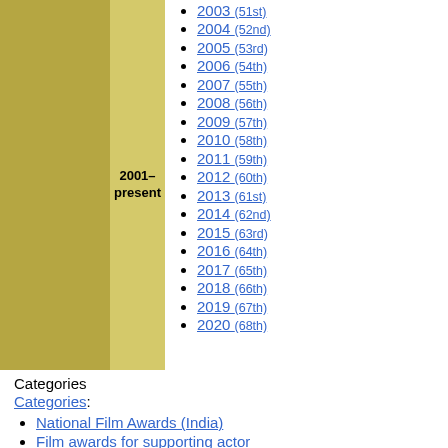2001–present
2003 (51st)
2004 (52nd)
2005 (53rd)
2006 (54th)
2007 (55th)
2008 (56th)
2009 (57th)
2010 (58th)
2011 (59th)
2012 (60th)
2013 (61st)
2014 (62nd)
2015 (63rd)
2016 (64th)
2017 (65th)
2018 (66th)
2019 (67th)
2020 (68th)
Categories
Categories:
National Film Awards (India)
Film awards for supporting actor